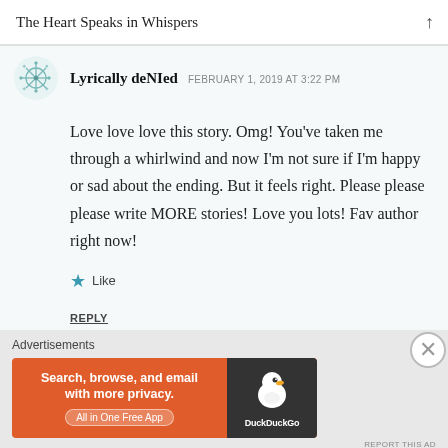The Heart Speaks in Whispers
Lyrically deNIed   FEBRUARY 1, 2019 AT 3:22 PM
Love love love this story. Omg! You've taken me through a whirlwind and now I'm not sure if I'm happy or sad about the ending. But it feels right. Please please please write MORE stories! Love you lots! Fav author right now!
Like
REPLY
Advertisements
[Figure (screenshot): DuckDuckGo advertisement banner: orange background with text 'Search, browse, and email with more privacy. All in One Free App' and DuckDuckGo logo on dark background]